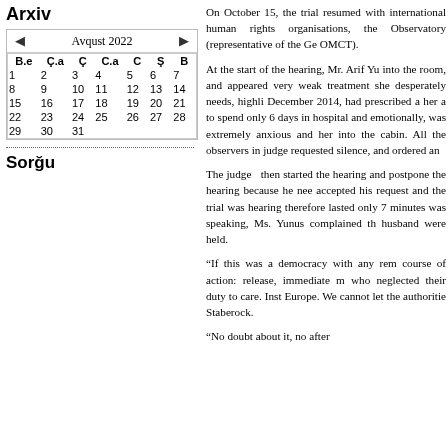Arxiv
| B.e | Ç.a | Ç | C.a | C | Ş | B |
| --- | --- | --- | --- | --- | --- | --- |
| 1 | 2 | 3 | 4 | 5 | 6 | 7 |
| 8 | 9 | 10 | 11 | 12 | 13 | 14 |
| 15 | 16 | 17 | 18 | 19 | 20 | 21 |
| 22 | 23 | 24 | 25 | 26 | 27 | 28 |
| 29 | 30 | 31 |  |  |  |  |
Sorğu
On October 15, the trial resumed with international human rights organisations, the Observatory (representative of the Geneva OMCT).
At the start of the hearing, Mr. Arif Yunus into the room, and appeared very weak. The treatment she desperately needs, highlighting December 2014, had prescribed a her a to spend only 6 days in hospital and emotionally, was extremely anxious and her into the cabin. All the observers in judge requested silence, and ordered an
The judge then started the hearing and postpone the hearing because he needed accepted his request and the trial was hearing therefore lasted only 7 minutes was speaking, Ms. Yunus complained that husband were held.
“If this was a democracy with any course of action: release, immediate m who neglected their duty to care. Inst Europe. We cannot let the authoritie Staberock.
“No doubt about it, no after